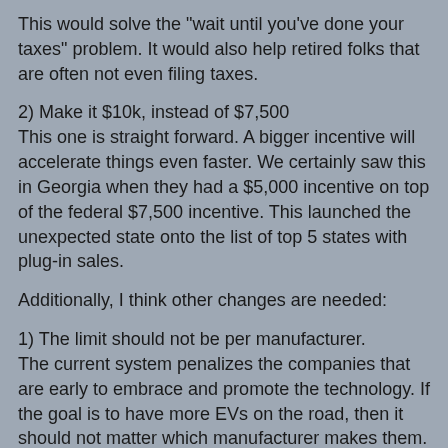This would solve the "wait until you've done your taxes" problem. It would also help retired folks that are often not even filing taxes.
2) Make it $10k, instead of $7,500
This one is straight forward. A bigger incentive will accelerate things even faster. We certainly saw this in Georgia when they had a $5,000 incentive on top of the federal $7,500 incentive. This launched the unexpected state onto the list of top 5 states with plug-in sales.
Additionally, I think other changes are needed:
1) The limit should not be per manufacturer.
The current system penalizes the companies that are early to embrace and promote the technology. If the goal is to have more EVs on the road, then it should not matter which manufacturer makes them. Let the market/buyers decide which vehicles they want on a level playing field. Auto manufacturers that are currently sitting on their hands know that (with the current system) their 200,000 cars are waiting for them and that they can use it later to make cars that will